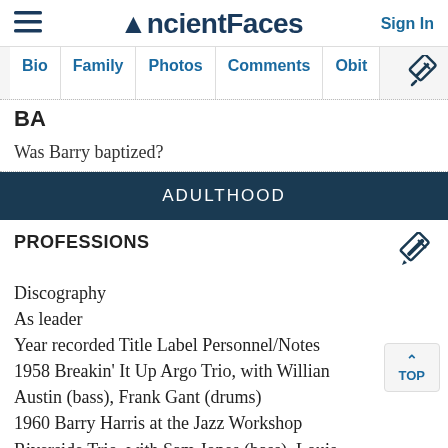AncientFaces  Sign In
Bio  Family  Photos  Comments  Obit
BA
Was Barry baptized?
ADULTHOOD
PROFESSIONS
Discography
As leader
Year recorded Title Label Personnel/Notes
1958 Breakin' It Up Argo Trio, with William Austin (bass), Frank Gant (drums)
1960 Barry Harris at the Jazz Workshop
Riverside Trio, with Sam Jones (bass), Louis